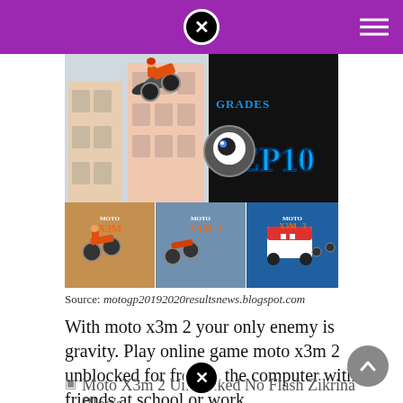[Figure (screenshot): Collage of Moto X3M game series: motorbike jumping over buildings on left, YEP10 logo with cartoon eye character on right, and three game thumbnails at bottom showing Moto X3M, Moto X3M 2, and Moto X3M 3]
Source: motogp20192020resultsnews.blogspot.com
With moto x3m 2 your only enemy is gravity. Play online game moto x3m 2 unblocked for free on the computer with friends at school or work.
[Figure (screenshot): Moto X3m 2 Unblocked No Flash Zikrina Blog's - partial image visible at bottom of page]